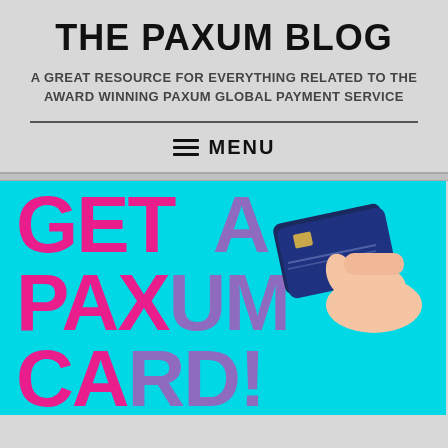THE PAXUM BLOG
A GREAT RESOURCE FOR EVERYTHING RELATED TO THE AWARD WINNING PAXUM GLOBAL PAYMENT SERVICE
≡ MENU
[Figure (illustration): Cyan background promotional banner with large bold text reading 'GET A PAXUM CARD!' in alternating pink and purple colors. A hand holding a dark blue credit card is visible in the upper right area of the banner.]